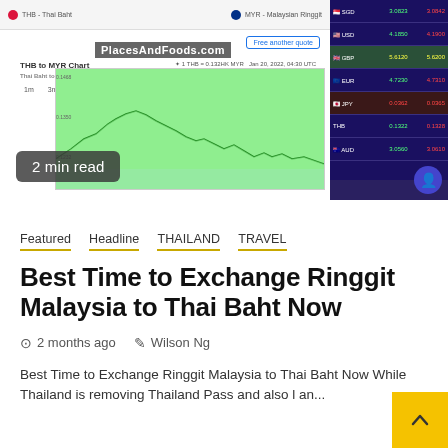[Figure (screenshot): A screenshot of a currency exchange chart (THB to MYR) with a green line chart showing exchange rate fluctuations, watermark 'PlacesAndFoods.com', alongside an exchange rate board display on the right showing currency rates.]
2 min read
Featured  Headline  THAILAND  TRAVEL
Best Time to Exchange Ringgit Malaysia to Thai Baht Now
2 months ago   Wilson Ng
Best Time to Exchange Ringgit Malaysia to Thai Baht Now While Thailand is removing Thailand Pass and also l an...